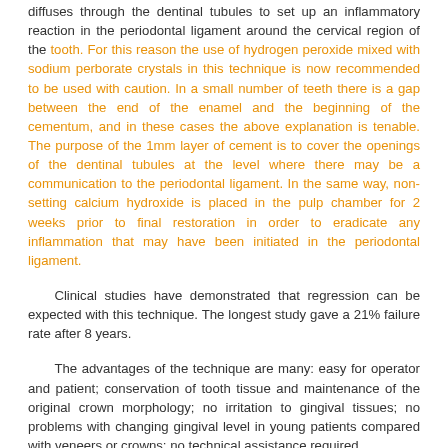diffuses through the dentinal tubules to set up an inflammatory reaction in the periodontal ligament around the cervical region of the tooth. For this reason the use of hydrogen peroxide mixed with sodium perborate crystals in this technique is now recommended to be used with caution. In a small number of teeth there is a gap between the end of the enamel and the beginning of the cementum, and in these cases the above explanation is tenable. The purpose of the 1mm layer of cement is to cover the openings of the dentinal tubules at the level where there may be a communication to the periodontal ligament. In the same way, non-setting calcium hydroxide is placed in the pulp chamber for 2 weeks prior to final restoration in order to eradicate any inflammation that may have been initiated in the periodontal ligament.
Clinical studies have demonstrated that regression can be expected with this technique. The longest study gave a 21% failure rate after 8 years.
The advantages of the technique are many: easy for operator and patient; conservation of tooth tissue and maintenance of the original crown morphology; no irritation to gingival tissues; no problems with changing gingival level in young patients compared with veneers or crowns; no technical assistance required.